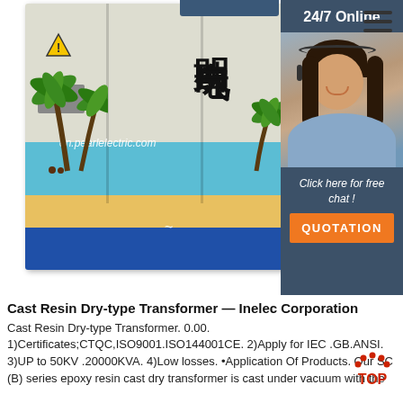[Figure (photo): Outdoor cast resin dry-type transformer cabinet with Chinese characters '明珠电气' and tropical beach mural painting, with watermark 'en.pearlelectric.com'. Right side shows a 24/7 online chat widget with a female customer service representative, a 'Click here for free chat!' message, and an orange QUOTATION button.]
Cast Resin Dry-type Transformer — Inelec Corporation
Cast Resin Dry-type Transformer. 0.00. 1)Certificates;CTQC,ISO9001.ISO144001CE. 2)Apply for IEC .GB.ANSI. 3)UP to 50KV .20000KVA. 4)Low losses. •Application Of Products. Our SC (B) series epoxy resin cast dry transformer is cast under vacuum with the